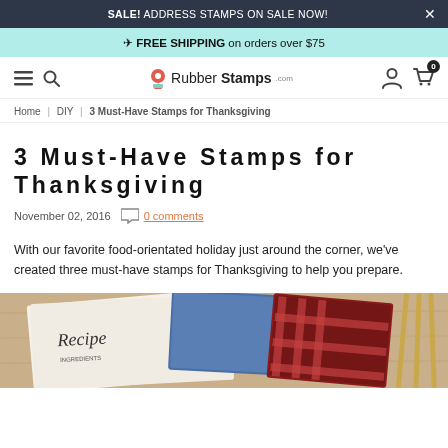SALE! ADDRESS STAMPS ON SALE NOW!
FREE SHIPPING on orders over $75
RubberStamps — Home | DIY | 3 Must-Have Stamps for Thanksgiving
Home | DIY | 3 Must-Have Stamps for Thanksgiving
3 Must-Have Stamps for Thanksgiving
November 02, 2016   0 comments
With our favorite food-orientated holiday just around the corner, we've created three must-have stamps for Thanksgiving to help you prepare.
[Figure (photo): Recipe cards and decorative stamps arranged on a wooden table with gold scissors visible on the right side.]